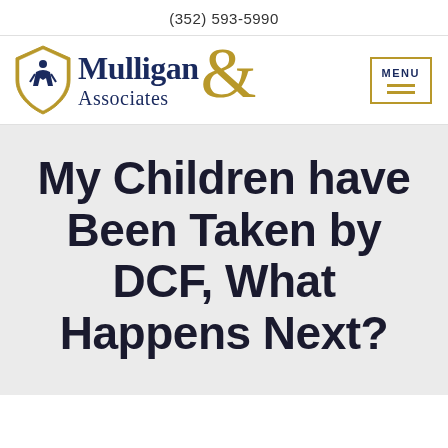(352) 593-5990
[Figure (logo): Mulligan & Associates law firm logo with shield icon featuring a figure, firm name in navy, and gold ampersand symbol, plus a gold-bordered MENU button]
My Children have Been Taken by DCF, What Happens Next?